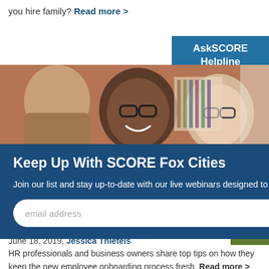you hire family? Read more >
[Figure (photo): Two men smiling in an office setting with brick wall background. One man has glasses and dark complexion, the other has glasses and light complexion.]
Keep Up With SCORE Fox Cities
Join our list and stay up-to-date with our live webinars designed to help you start and grow a successful business.
email address  SUBMIT
AskSCORE Helpline
Blog
Onboarding Process
June 18, 2019, Jessica Thiefels
HR professionals and business owners share top tips on how they keep the new employee onboarding process fresh. Read more >